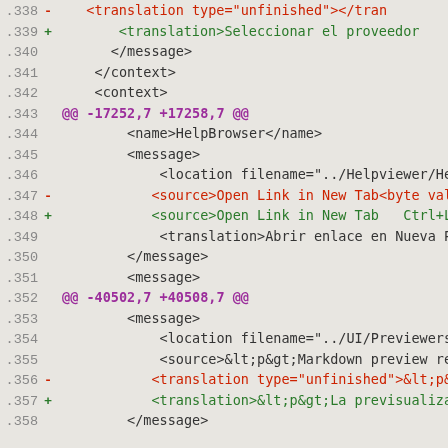.338 -   <translation type="unfinished"></tran
.339 +       <translation>Seleccionar el proveedor
.340       </message>
.341     </context>
.342     <context>
.343 @@ -17252,7 +17258,7 @@
.344         <name>HelpBrowser</name>
.345         <message>
.346             <location filename="../Helpviewer/Hel
.347 -           <source>Open Link in New Tab<byte val
.348 +           <source>Open Link in New Tab   Ctrl+L
.349             <translation>Abrir enlace en Nueva Pe
.350         </message>
.351         <message>
.352 @@ -40502,7 +40508,7 @@
.353         <message>
.354             <location filename="../UI/Previewers/
.355             <source>&lt;p&gt;Markdown preview req
.356 -           <translation type="unfinished">&lt;p&
.357 +           <translation>&lt;p&gt;La previsualiza
.358         </message>